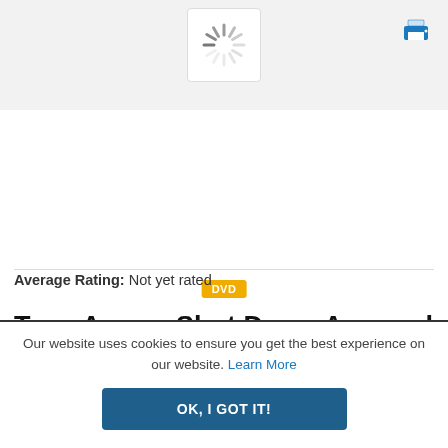[Figure (screenshot): Loading spinner icon inside a white rounded box]
[Figure (illustration): Blue printer icon in top right corner]
[Figure (other): Yellow DVD badge label]
Teen Anger: Shut Down Angered Out-Bursts, Arguing, and Out-of-Control Behaviors with Mindfulness-Based Strategies that Get Results
Average Rating: Not yet rated
Our website uses cookies to ensure you get the best experience on our website. Learn More
OK, I GOT IT!